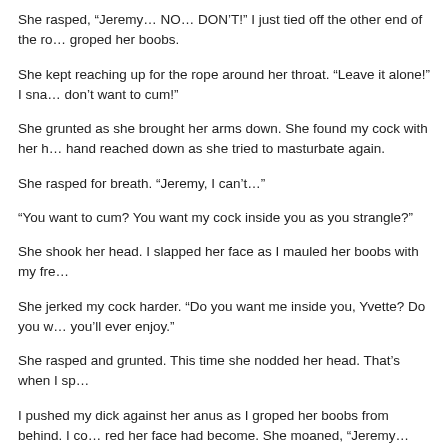She rasped, “Jeremy… NO… DON’T!” I just tied off the other end of the ro… groped her boobs.
She kept reaching up for the rope around her throat. “Leave it alone!” I sna… don’t want to cum!”
She grunted as she brought her arms down. She found my cock with her h… hand reached down as she tried to masturbate again.
She rasped for breath. “Jeremy, I can’t…”
“You want to cum? You want my cock inside you as you strangle?”
She shook her head. I slapped her face as I mauled her boobs with my fre…
She jerked my cock harder. “Do you want me inside you, Yvette? Do you w… you’ll ever enjoy.”
She rasped and grunted. This time she nodded her head. That’s when I sp…
I pushed my dick against her anus as I groped her boobs from behind. I co… red her face had become. She moaned, “Jeremy… no!”